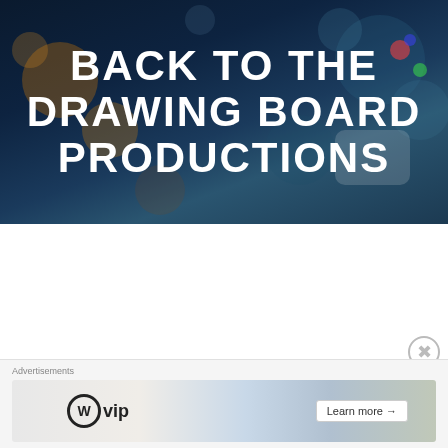[Figure (photo): Dark blurred bokeh city lights background banner with large white bold text reading BACK TO THE DRAWING BOARD PRODUCTIONS]
BACK TO THE DRAWING BOARD PRODUCTIONS
TAG: BELVEDERES RESTAURANT
[Figure (infographic): Advertisement banner with WordPress VIP logo and Learn more button, colorful background with map/social media imagery]